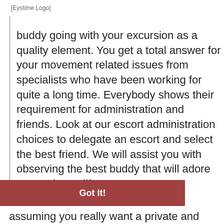Eystime Logo
buddy going with your excursion as a quality element. You get a total answer for your movement related issues from specialists who have been working for quite a long time. Everybody shows their requirement for administration and friends. Look at our escort administration choices to delegate an escort and select the best friend. We will assist you with observing the best buddy that will adore you and your life partners.
Got It!
assuming you really want a private and